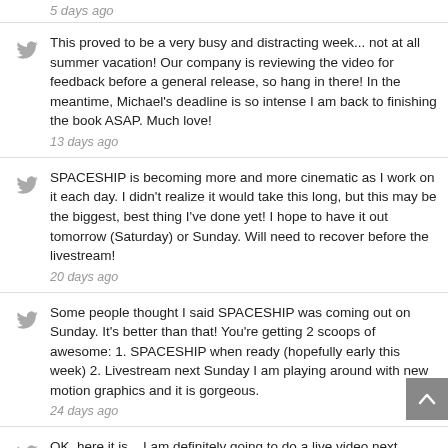5 days ago
This proved to be a very busy and distracting week... not at all summer vacation! Our company is reviewing the video for feedback before a general release, so hang in there! In the meantime, Michael's deadline is so intense I am back to finishing the book ASAP. Much love! 13 days ago
SPACESHIP is becoming more and more cinematic as I work on it each day. I didn't realize it would take this long, but this may be the biggest, best thing I've done yet! I hope to have it out tomorrow (Saturday) or Sunday. Will need to recover before the livestream! 20 days ago
Some people thought I said SPACESHIP was coming out on Sunday. It's better than that! You're getting 2 scoops of awesome: 1. SPACESHIP when ready (hopefully early this week) 2. Livestream next Sunday I am playing around with new motion graphics and it is gorgeous. 24 days ago
OK, here it is... I am definitely going to do a live video next Sunday. It's simply been too long! In the meantime, I have been spending enormous time putting together a badass hovercar video. The title is SPACESHIP. You will be VERY HAPPY. 25 days ago